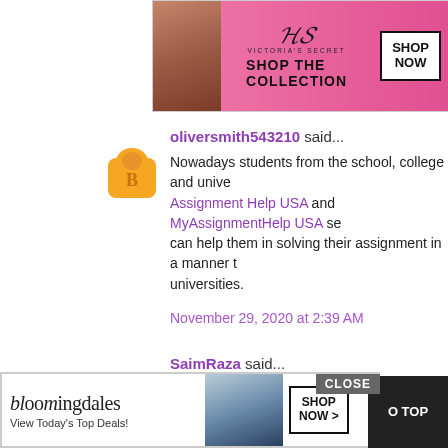[Figure (infographic): Victoria's Secret advertisement banner with pink background, model photo, VS logo, and SHOP NOW button]
oliversmith543210 said...
Nowadays students from the school, college and university are using Assignment Help USA and MyAssignmentHelp USA services which can help them in solving their assignment in a manner that is required by universities.
November 29, 2020 at 2:39 AM
SaimRaza said...
yes the teachers always want that their students get good results for learning daily basis.Lik this teacher speaking publicly
December 6, 2020 at 11:48 AM
[Figure (infographic): Bloomingdale's advertisement with model in hat, Shop Now button, and View Today's Top Deals text. Close button and TO TOP button overlay.]